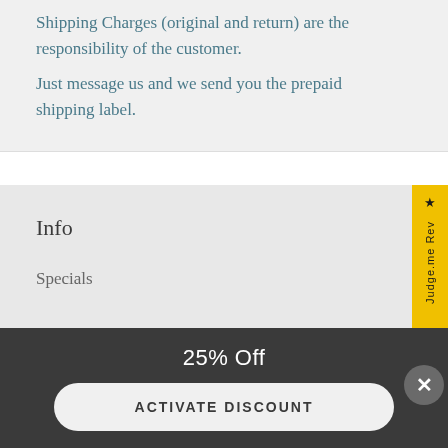Shipping Charges (original and return) are the responsibility of the customer. Just message us and we send you the prepaid shipping label.
Info
Specials
★ Judge.me Rev...
25% Off
ACTIVATE DISCOUNT